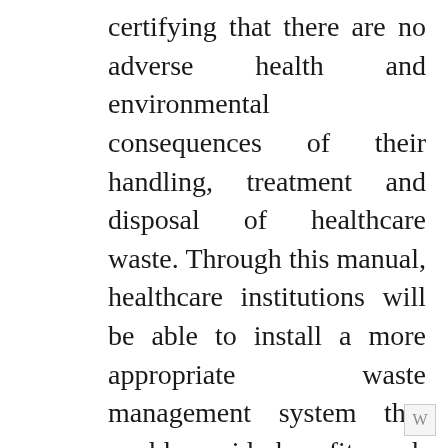certifying that there are no adverse health and environmental consequences of their handling, treatment and disposal of healthcare waste. Through this manual, healthcare institutions will be able to install a more appropriate waste management system that could provide benefits such as an improved regulatory compliance; protection of human health by reducing the exposure of employees to hazardous waste in the work environment; enhance community relations by demonstrating a commitment to environmental protection; economic benefits resulting from pollution prevention products that reduce and recycle waste; avoidance of long-term liability. Healthcare establishments are